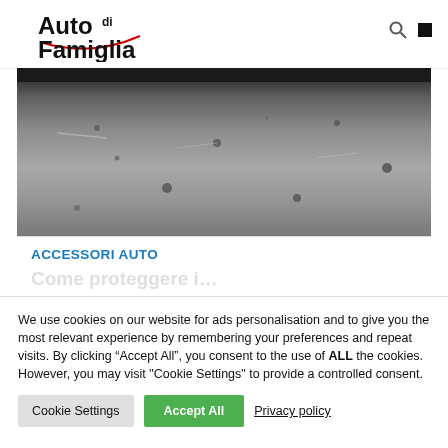Auto di Famiglia
[Figure (photo): Close-up photo of a road or asphalt surface with gravel and debris, viewed from a low angle]
ACCESSORI AUTO
C... (partially visible title)
We use cookies on our website for ads personalisation and to give you the most relevant experience by remembering your preferences and repeat visits. By clicking “Accept All”, you consent to the use of ALL the cookies. However, you may visit "Cookie Settings" to provide a controlled consent.
Cookie Settings  Accept All  Privacy policy